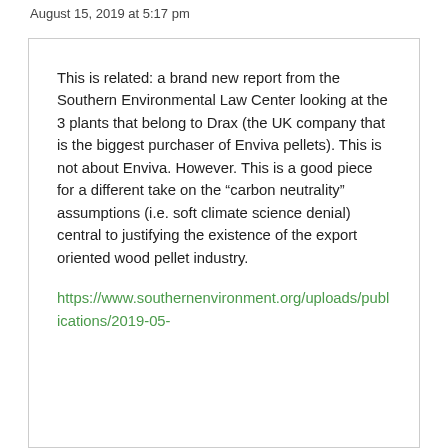August 15, 2019 at 5:17 pm
This is related: a brand new report from the Southern Environmental Law Center looking at the 3 plants that belong to Drax (the UK company that is the biggest purchaser of Enviva pellets). This is not about Enviva. However. This is a good piece for a different take on the “carbon neutrality” assumptions (i.e. soft climate science denial) central to justifying the existence of the export oriented wood pellet industry.
https://www.southernenvironment.org/uploads/publications/2019-05-